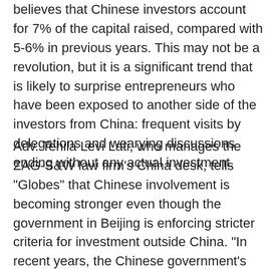believes that Chinese investors account for 7% of the capital raised, compared with 5-6% in previous years. This may not be a revolution, but it is a significant trend that is likely to surprise entrepreneurs who have been exposed to another side of the investors from China: frequent visits by delegations and wearying discussions ending without any actual investment.
Adv. Tehila Levi Lati, who manages the ZAG-S&W law firm's China desk, tells "Globes" that Chinese involvement is becoming stronger even though the government in Beijing is enforcing stricter criteria for investment outside China. "In recent years, the Chinese government's policy has been to bring new technologies to China. Up until 2016, this was done through investments outside the country, and it was very easy to get approval. Since 2016, however, the process has pretty much come to a halt, and they have begun